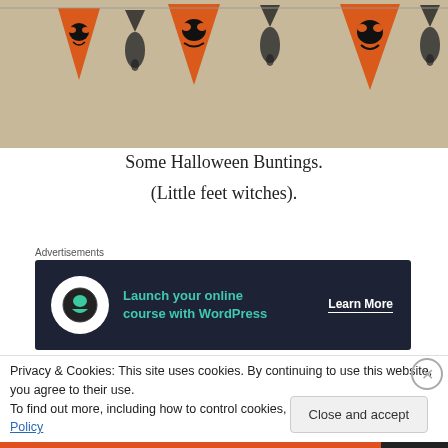[Figure (photo): Halloween buntings hanging on a wall — alternating orange triangle pennants with jack-o-lantern faces and witch silhouette decorations made from handprints/footprints]
Some Halloween Buntings.

(Little feet witches).
Advertisements
[Figure (other): Advertisement banner: Launch your online course with WordPress — Learn More]
[Figure (photo): Partial photo of Halloween decorations, partially obscured by cookie consent banner]
Privacy & Cookies: This site uses cookies. By continuing to use this website, you agree to their use.
To find out more, including how to control cookies, see here: Cookie Policy
Close and accept